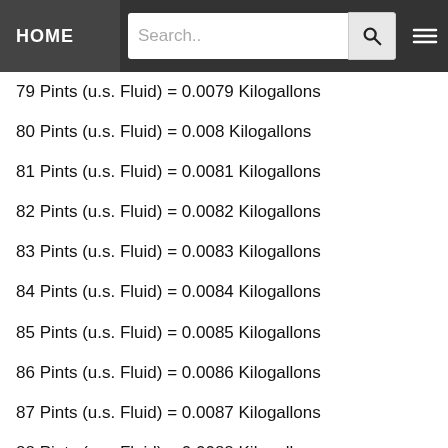HOME | Search..
79 Pints (u.s. Fluid) = 0.0079 Kilogallons
80 Pints (u.s. Fluid) = 0.008 Kilogallons
81 Pints (u.s. Fluid) = 0.0081 Kilogallons
82 Pints (u.s. Fluid) = 0.0082 Kilogallons
83 Pints (u.s. Fluid) = 0.0083 Kilogallons
84 Pints (u.s. Fluid) = 0.0084 Kilogallons
85 Pints (u.s. Fluid) = 0.0085 Kilogallons
86 Pints (u.s. Fluid) = 0.0086 Kilogallons
87 Pints (u.s. Fluid) = 0.0087 Kilogallons
88 Pints (u.s. Fluid) = 0.0088 Kilogallons
89 Pints (u.s. Fluid) = 0.0089 Kilogallons